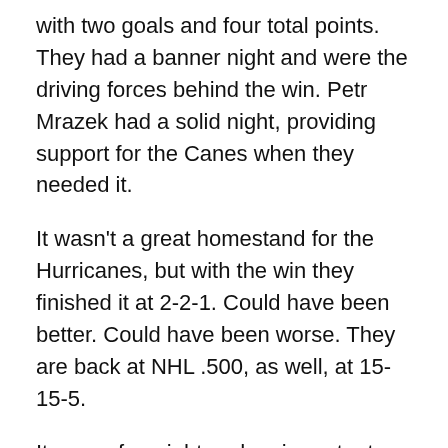with two goals and four total points. They had a banner night and were the driving forces behind the win. Petr Mrazek had a solid night, providing support for the Canes when they needed it.
It wasn't a great homestand for the Hurricanes, but with the win they finished it at 2-2-1. Could have been better. Could have been worse. They are back at NHL .500, as well, at 15-15-5.
It was a fun night and an important win for the Canes. They're going to have to kick things up a notch after the holiday break if they want to stay in the playoff picture, though.
Postgame Quotes